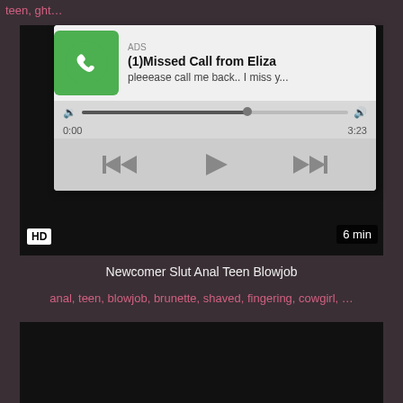teen, ... ght....
[Figure (screenshot): Ad overlay showing missed call notification with audio player controls: title '(1)Missed Call from Eliza', subtitle 'pleeease call me back.. I miss y...', progress bar at ~62%, time 0:00 to 3:23, playback controls (rewind, play, fast-forward)]
[Figure (screenshot): Dark video thumbnail with HD badge and 6 min duration label]
Newcomer Slut Anal Teen Blowjob
anal, teen, blowjob, brunette, shaved, fingering, cowgirl, ....
[Figure (screenshot): Second dark video thumbnail]